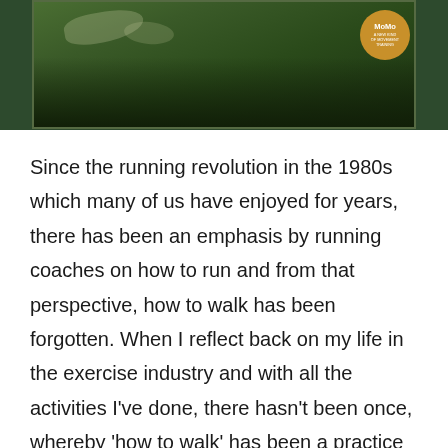[Figure (photo): Green foliage/nature background image with a circular gold badge/logo in the top right corner showing 'MoMo' text]
Since the running revolution in the 1980s which many of us have enjoyed for years, there has been an emphasis by running coaches on how to run and from that perspective, how to walk has been forgotten. When I reflect back on my life in the exercise industry and with all the activities I’ve done, there hasn’t been once, whereby ‘how to walk’ has been a practice that I’ve been involved in.
Sure, I studied gait analysis from a